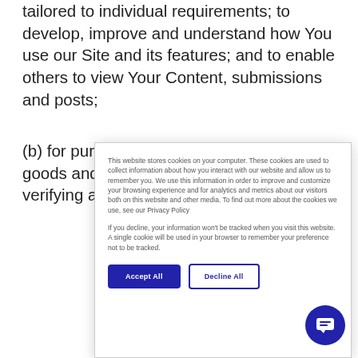tailored to individual requirements; to develop, improve and understand how You use our Site and its features; and to enable others to view Your Content, submissions and posts;
(b) for purposes related to providing our goods and services to You, including verifying and authenticating Your identity...
This website stores cookies on your computer. These cookies are used to collect information about how you interact with our website and allow us to remember you. We use this information in order to improve and customize your browsing experience and for analytics and metrics about our visitors both on this website and other media. To find out more about the cookies we use, see our Privacy Policy
If you decline, your information won't be tracked when you visit this website. A single cookie will be used in your browser to remember your preference not to be tracked.